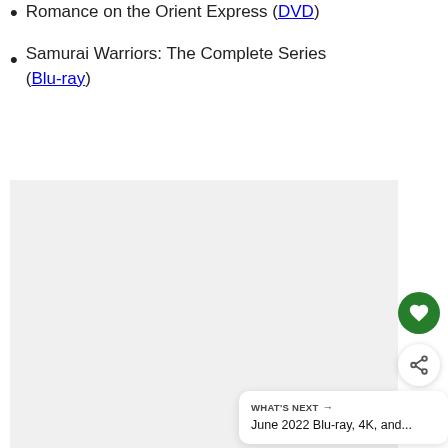Romance on the Orient Express (DVD)
Samurai Warriors: The Complete Series (Blu-ray)
[Figure (other): Large light gray image placeholder area with three small gray square dots centered near bottom, a green heart/favorite button and a white share button on the right side]
WHAT'S NEXT →
June 2022 Blu-ray, 4K, and...